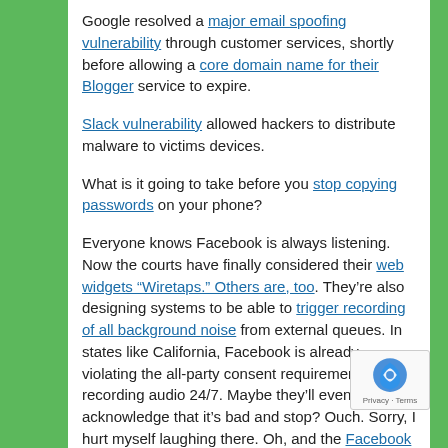Google resolved a major email spoofing vulnerability through customer services, shortly before allowing a core domain name for their Blogger service to expire.
Slack vulnerability allowed hackers to distribute malware to victims devices.
What is it going to take before you stop copying passwords on your phone?
Everyone knows Facebook is always listening. Now the courts have finally considered their web widgets “Wiretaps.” Others are, too. They’re also designing systems to be able to trigger recording of all background noise from external queues. In states like California, Facebook is already violating the all-party consent requirements by recording audio 24/7. Maybe they’ll eventually acknowledge that it’s bad and stop? Ouch. Sorry, I hurt myself laughing there. Oh, and the Facebook Messenger app allowed you to be infected with persistent malware. If you have a website with Facebook integration,